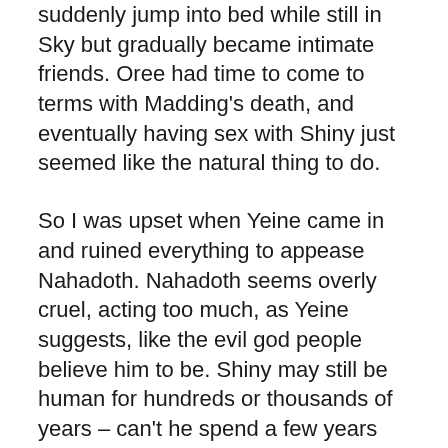suddenly jump into bed while still in Sky but gradually became intimate friends. Oree had time to come to terms with Madding's death, and eventually having sex with Shiny just seemed like the natural thing to do.
So I was upset when Yeine came in and ruined everything to appease Nahadoth. Nahadoth seems overly cruel, acting too much, as Yeine suggests, like the evil god people believe him to be. Shiny may still be human for hundreds or thousands of years – can't he spend a few years with Oree?
But Yeine has to balance rehabilitation with punishment. Ten years would be like a few minutes to a god as old as Nahadoth to it would seem like Itempas has hardly been punished at all yet. Leaving Oree seems a small thing compared to, for example, the way Sieh and Nahadoth